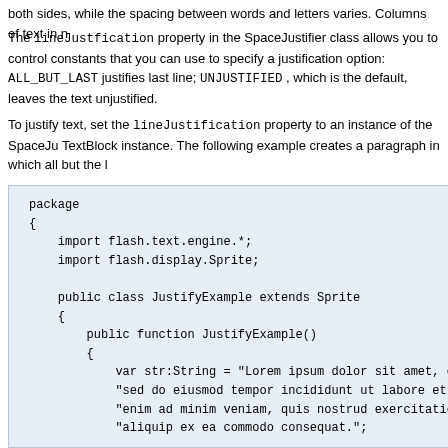both sides, while the spacing between words and letters varies. Columns of text in n
The lineJustfication property in the SpaceJustifier class allows you to control constants that you can use to specify a justification option: ALL_BUT_LAST justifies last line; UNJUSTIFIED , which is the default, leaves the text unjustified.
To justify text, set the lineJustification property to an instance of the SpaceJ TextBlock instance. The following example creates a paragraph in which all but the l
[Figure (screenshot): Code block showing ActionScript package with JustifyExample class. Contains imports for flash.text.engine.* and flash.display.Sprite, public class JustifyExample extends Sprite, constructor with var str:String, var format:ElementFormat, var textElement:TextElement, var spaceJustifier:SpaceJustifier.]